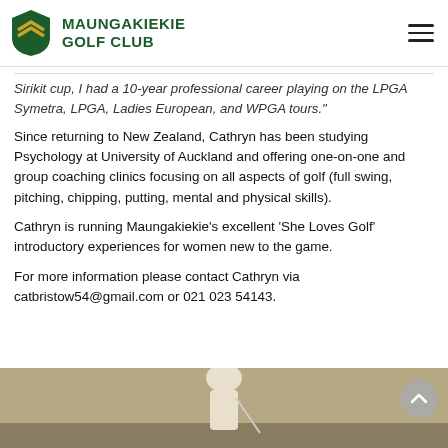MAUNGAKIEKIE GOLF CLUB
Sirikit cup, I had a 10-year professional career playing on the LPGA Symetra, LPGA, Ladies European, and WPGA tours."
Since returning to New Zealand, Cathryn has been studying Psychology at University of Auckland and offering one-on-one and group coaching clinics focusing on all aspects of golf (full swing, pitching, chipping, putting, mental and physical skills).
Cathryn is running Maungakiekie's excellent 'She Loves Golf' introductory experiences for women new to the game.
For more information please contact Cathryn via catbristow54@gmail.com or 021 023 54143.
[Figure (photo): Photo of a golfer at the bottom of the page, partially visible]